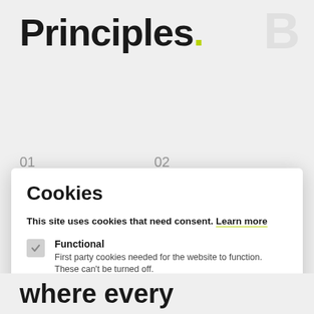Principles.
01
02
Cookies
This site uses cookies that need consent. Learn more
Functional
First party cookies needed for the website to function. These can't be turned off.
Analytics
Used for statistical analysis.
Accept  Ignore
where every